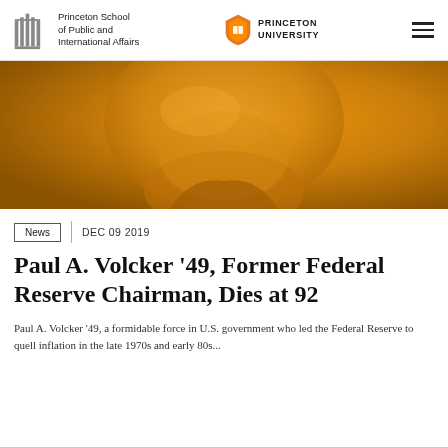Princeton School of Public and International Affairs | PRINCETON UNIVERSITY
[Figure (photo): Close-up portrait photo of Paul A. Volcker rendered in orange/amber monochrome tones, showing his face and upper body.]
News   DEC 09 2019
Paul A. Volcker '49, Former Federal Reserve Chairman, Dies at 92
Paul A. Volcker '49, a formidable force in U.S. government who led the Federal Reserve to quell inflation in the late 1970s and early 80s...